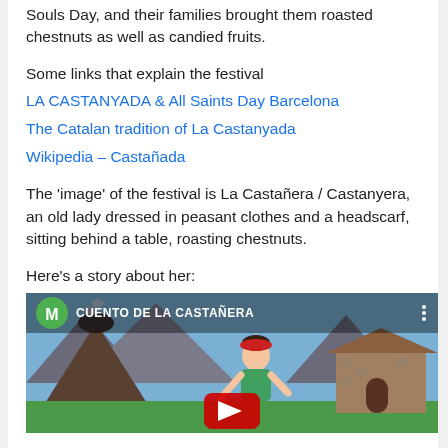Souls Day, and their families brought them roasted chestnuts as well as candied fruits.
Some links that explain the festival
LA CASTANYADA & All Saints Day Barcelona
The Catalan tradition of La Castanyada
Wikipedia – Castañada
The 'image' of the festival is La Castañera / Castanyera, an old lady dressed in peasant clothes and a headscarf, sitting behind a table, roasting chestnuts.
Here's a story about her:
[Figure (screenshot): YouTube video thumbnail showing animated cartoon scene with a character in front of a mountain landscape, with a green M circle icon and the title CUENTO DE LA CASTAÑERA]